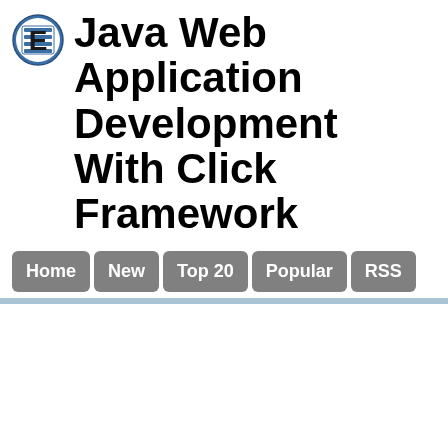Java Web Application Development With Click Framework
[Figure (logo): Circular logo with letter E and horizontal lines, blue and white colors]
Home
New
Top 20
Popular
RSS